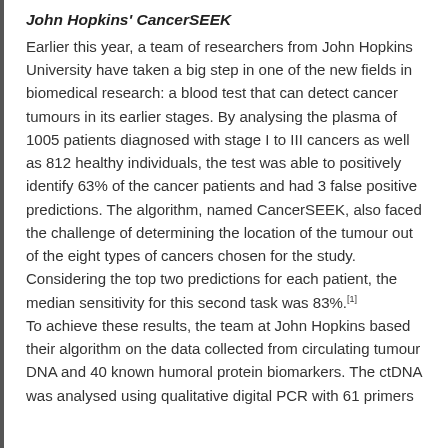John Hopkins' CancerSEEK
Earlier this year, a team of researchers from John Hopkins University have taken a big step in one of the new fields in biomedical research: a blood test that can detect cancer tumours in its earlier stages. By analysing the plasma of 1005 patients diagnosed with stage I to III cancers as well as 812 healthy individuals, the test was able to positively identify 63% of the cancer patients and had 3 false positive predictions. The algorithm, named CancerSEEK, also faced the challenge of determining the location of the tumour out of the eight types of cancers chosen for the study. Considering the top two predictions for each patient, the median sensitivity for this second task was 83%.[1]
To achieve these results, the team at John Hopkins based their algorithm on the data collected from circulating tumour DNA and 40 known humoral protein biomarkers. The ctDNA was analysed using qualitative digital PCR with 61 primers